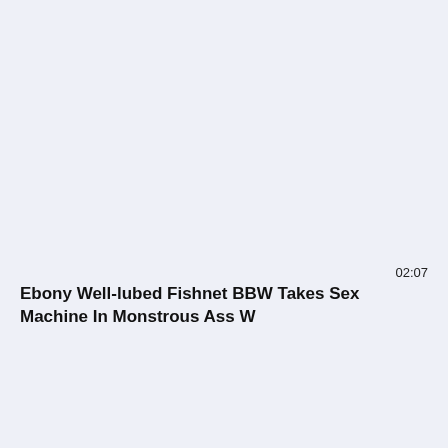[Figure (screenshot): Blank light blue-grey thumbnail area for a video]
02:07
Ebony Well-lubed Fishnet BBW Takes Sex Machine In Monstrous Ass W